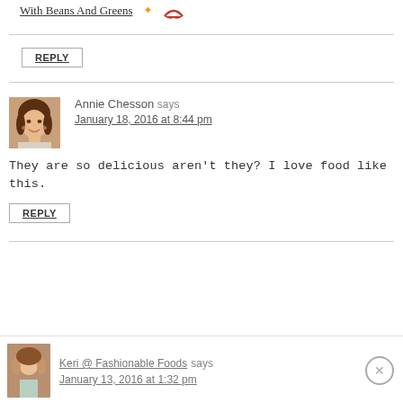With Beans And Greens 🔱
REPLY
Annie Chesson says
January 18, 2016 at 8:44 pm
They are so delicious aren't they? I love food like this.
REPLY
Keri @ Fashionable Foods says
January 13, 2016 at 1:32 pm